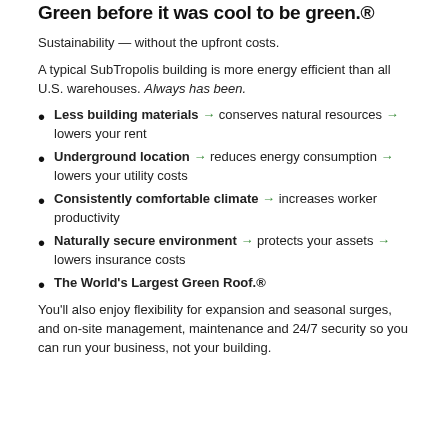Green before it was cool to be green.®
Sustainability — without the upfront costs.
A typical SubTropolis building is more energy efficient than all U.S. warehouses. Always has been.
Less building materials → conserves natural resources → lowers your rent
Underground location → reduces energy consumption → lowers your utility costs
Consistently comfortable climate → increases worker productivity
Naturally secure environment → protects your assets → lowers insurance costs
The World's Largest Green Roof.®
You'll also enjoy flexibility for expansion and seasonal surges, and on-site management, maintenance and 24/7 security so you can run your business, not your building.